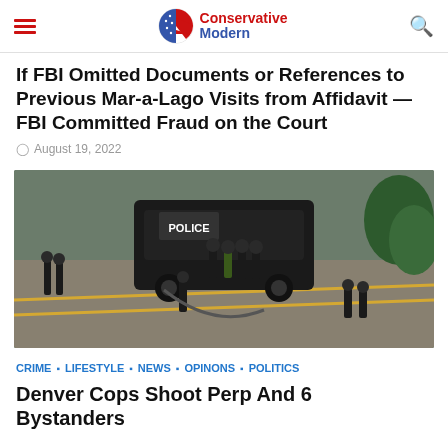Conservative Modern
If FBI Omitted Documents or References to Previous Mar-a-Lago Visits from Affidavit — FBI Committed Fraud on the Court
August 19, 2022
[Figure (photo): Aerial view of a police scene with a marked POLICE armored vehicle and officers in tactical gear gathered on a street, with trees visible.]
CRIME · LIFESTYLE · NEWS · OPINONS · POLITICS
Denver Cops Shoot Perp And 6 Bystanders